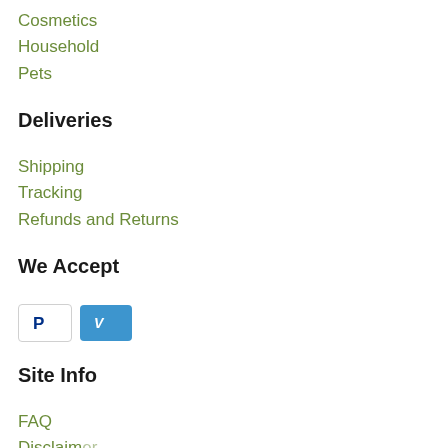Cosmetics
Household
Pets
Deliveries
Shipping
Tracking
Refunds and Returns
We Accept
[Figure (logo): PayPal and Venmo payment method icons]
Site Info
FAQ
Disclaimer